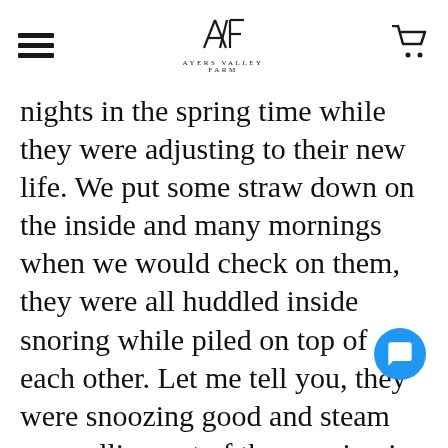Ayers Valley Farm — navigation header with hamburger menu, logo, and cart icon
nights in the spring time while they were adjusting to their new life. We put some straw down on the inside and many mornings when we would check on them, they were all huddled inside snoring while piled on top of each other. Let me tell you, they were snoozing good and steam was rolling out of the opening in the hut. Their body heat and the thick plastic hut caused a greenhouse effect that grew grass for them to forage later! We kept the hut available for them in their first paddock b they chose to sleep under the shade trees instead. When we switched all our sheep and they